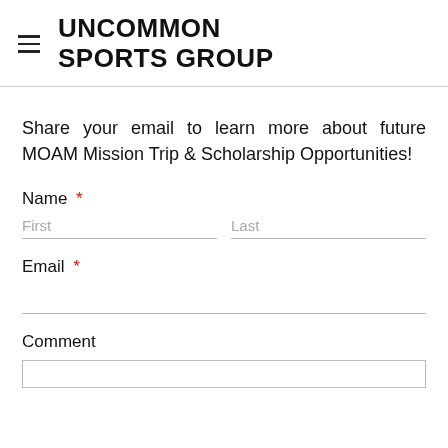UNCOMMON SPORTS GROUP
Share your email to learn more about future MOAM Mission Trip & Scholarship Opportunities!
Name *
First  Last
Email *
Comment